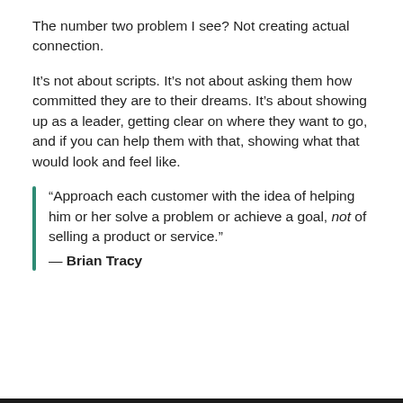The number two problem I see? Not creating actual connection.
It’s not about scripts. It’s not about asking them how committed they are to their dreams. It’s about showing up as a leader, getting clear on where they want to go, and if you can help them with that, showing what that would look and feel like.
“Approach each customer with the idea of helping him or her solve a problem or achieve a goal, not of selling a product or service.” — Brian Tracy